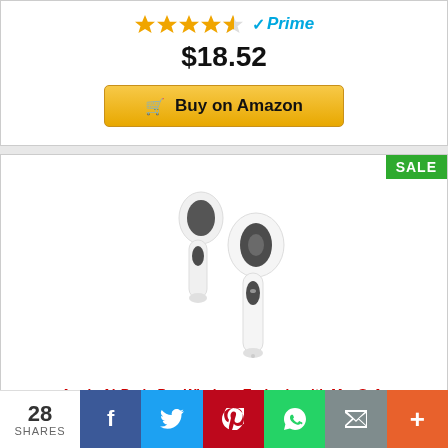[Figure (other): Star rating showing approximately 4 out of 5 stars in gold/orange color, with Amazon Prime checkmark logo in blue]
$18.52
Buy on Amazon
[Figure (photo): Apple AirPods Pro wireless earbuds product photo showing two white earbuds with silicone ear tips and stems]
SALE
Apple AirPods Pro Wireless Earbuds with MagSafe Charging Case. Active Noise Cancelling, Transparency Mode, Spatial Audio, Customizable Fit, Sweat and Water Resistant. Bluetooth Headphones for iPhone
28 SHARES